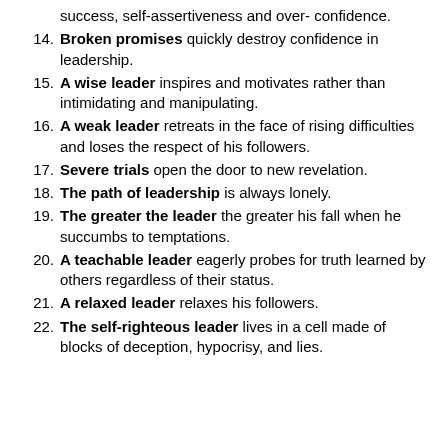success, self-assertiveness and over- confidence.
14. Broken promises quickly destroy confidence in leadership.
15. A wise leader inspires and motivates rather than intimidating and manipulating.
16. A weak leader retreats in the face of rising difficulties and loses the respect of his followers.
17. Severe trials open the door to new revelation.
18. The path of leadership is always lonely.
19. The greater the leader the greater his fall when he succumbs to temptations.
20. A teachable leader eagerly probes for truth learned by others regardless of their status.
21. A relaxed leader relaxes his followers.
22. The self-righteous leader lives in a cell made of blocks of deception, hypocrisy, and lies.